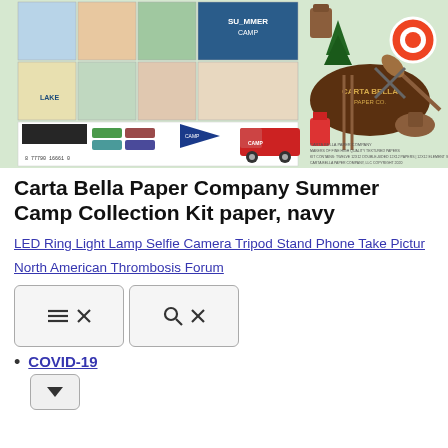[Figure (photo): Product image of Carta Bella Paper Company Summer Camp Collection Kit showing scrapbooking papers and stickers with camp-themed illustrations including trucks, canoes, trees, camping gear, and the Carta Bella Paper Co. logo.]
Carta Bella Paper Company Summer Camp Collection Kit paper, navy
LED Ring Light Lamp Selfie Camera Tripod Stand Phone Take Pictur
North American Thrombosis Forum
[Figure (screenshot): Two UI buttons: a menu/close button (hamburger icon with X) and a search/close button (magnifying glass icon with X)]
COVID-19
[Figure (screenshot): A dropdown button (chevron/arrow down icon inside a bordered rounded rectangle button)]